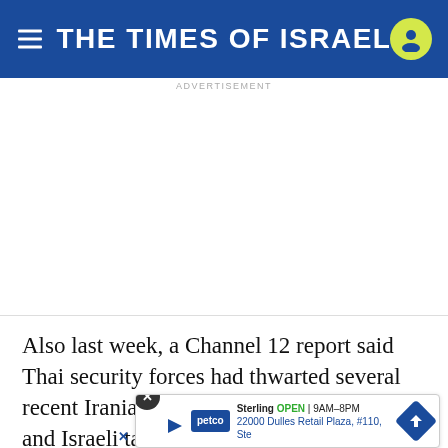THE TIMES OF ISRAEL
ADVERTISEMENT
Also last week, a Channel 12 report said Thai security forces had thwarted several recent Iranian attempts to harm Western and Israeli targets in the South... destin...